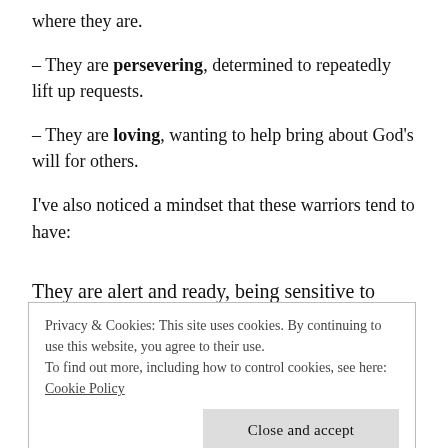where they are.
– They are persevering, determined to repeatedly lift up requests.
– They are loving, wanting to help bring about God's will for others.
I've also noticed a mindset that these warriors tend to have:
They are alert and ready, being sensitive to needs and
Privacy & Cookies: This site uses cookies. By continuing to use this website, you agree to their use.
To find out more, including how to control cookies, see here: Cookie Policy
Close and accept
mind, be alert and always keep on praying for